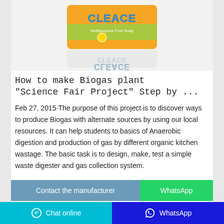[Figure (photo): Product photo of CLEACE Multipurpose Fruit Soap bar in orange and yellow packaging with its reflection on a white surface]
How to make Biogas plant "Science Fair Project" Step by ...
Feb 27, 2015·The purpose of this project is to discover ways to produce Biogas with alternate sources by using our local resources. It can help students to basics of Anaerobic digestion and production of gas by different organic kitchen wastage. The basic task is to design, make, test a simple waste digester and gas collection system.
Contact the manufacturer
WhatsApp
Chat online   WhatsApp